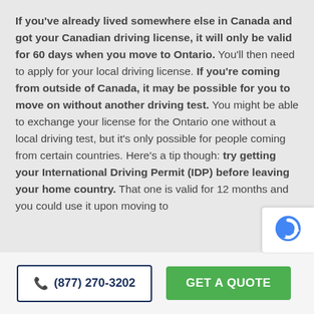If you've already lived somewhere else in Canada and got your Canadian driving license, it will only be valid for 60 days when you move to Ontario. You'll then need to apply for your local driving license. If you're coming from outside of Canada, it may be possible for you to move on without another driving test. You might be able to exchange your license for the Ontario one without a local driving test, but it's only possible for people coming from certain countries. Here's a tip though: try getting your International Driving Permit (IDP) before leaving your home country. That one is valid for 12 months and you could use it upon moving to
(877) 270-3202
GET A QUOTE